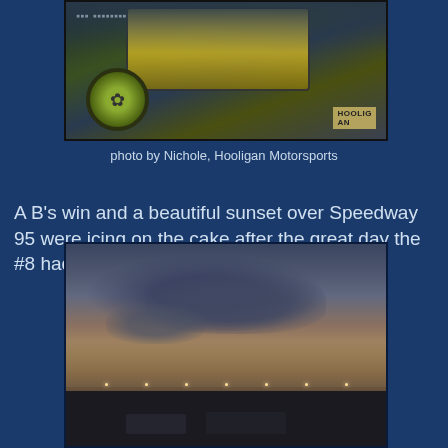[Figure (photo): Photo of racing gear and items at a motorsports event, taken by Nichole at Hooligan Motorsports]
photo by Nichole, Hooligan Motorsports
A B's win and a beautiful sunset over Speedway 95 were icing on the cake after the great day the #8 had.
[Figure (photo): Sunset over Speedway 95 parking lot with dramatic clouds, fence silhouette, and parked cars]